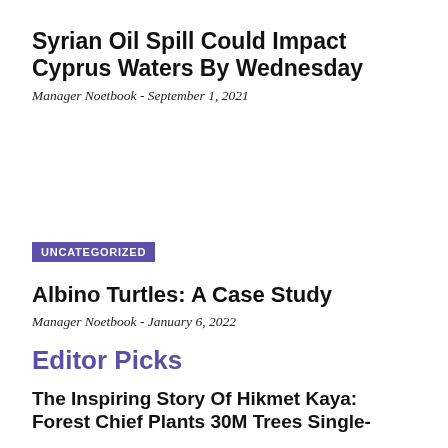Syrian Oil Spill Could Impact Cyprus Waters By Wednesday
Manager Noetbook - September 1, 2021
UNCATEGORIZED
Albino Turtles: A Case Study
Manager Noetbook - January 6, 2022
Editor Picks
The Inspiring Story Of Hikmet Kaya: Forest Chief Plants 30M Trees Single-Handedly